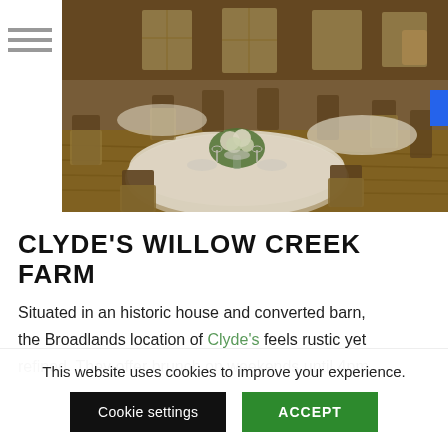[Figure (photo): Interior of Clyde's Willow Creek Farm restaurant showing elegantly set round tables with white tablecloths and floral centerpieces in a rustic barn-like space with wooden floors and warm lighting]
CLYDE'S WILLOW CREEK FARM
Situated in an historic house and converted barn, the Broadlands location of Clyde's feels rustic yet refined. They offer brunch on weekends until 4pm,
This website uses cookies to improve your experience.